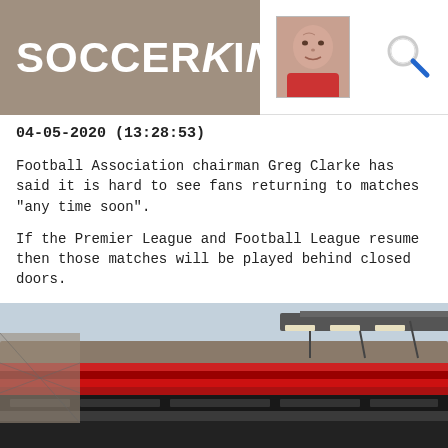SOCCERKING
04-05-2020 (13:28:53)
Football Association chairman Greg Clarke has said it is hard to see fans returning to matches "any time soon".
If the Premier League and Football League resume then those matches will be played behind closed doors.
The Premier League is also preparing for the possibility of playing the 2020-21 season without fans.
[Figure (photo): Football stadium interior showing stands and floodlights, daytime with overcast sky]